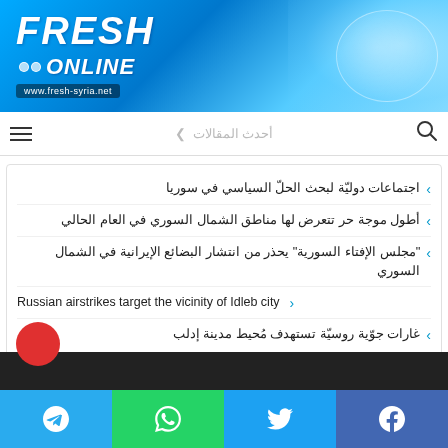[Figure (logo): Fresh Online logo with blue gradient background and globe graphic, website www.fresh-syria.net]
أحدث المقالات
اجتماعات دوليّة لبحث الحلّ السياسي في سوريا
أطول موجة حر تتعرض لها مناطق الشمال السوري في العام الحالي
"مجلس الإفتاء السورية" يحذر من انتشار البضائع الإيرانية في الشمال السوري
Russian airstrikes target the vicinity of Idleb city
غارات جوّية روسيّة تستهدف مُحيط مدينة إدلب
[Figure (screenshot): Bottom social share bar with Telegram, WhatsApp, Twitter, Facebook buttons]